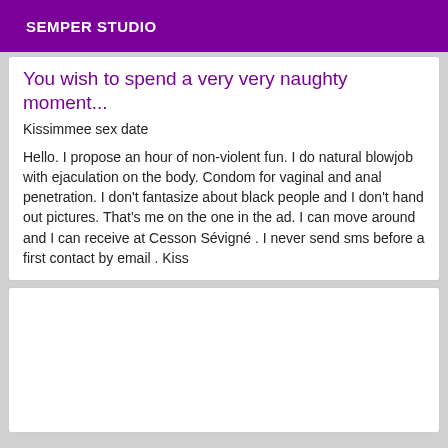SEMPER STUDIO
You wish to spend a very very naughty moment...
Kissimmee sex date
Hello. I propose an hour of non-violent fun. I do natural blowjob with ejaculation on the body. Condom for vaginal and anal penetration. I don't fantasize about black people and I don't hand out pictures. That's me on the one in the ad. I can move around and I can receive at Cesson Sévigné . I never send sms before a first contact by email . Kiss